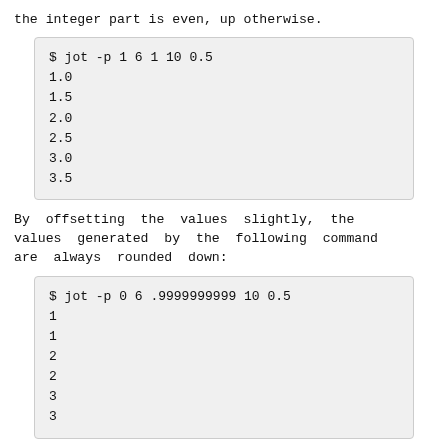the integer part is even, up otherwise.
$ jot -p 1 6 1 10 0.5
1.0
1.5
2.0
2.5
3.0
3.5
By offsetting the values slightly, the values generated by the following command are always rounded down:
$ jot -p 0 6 .9999999999 10 0.5
1
1
2
2
3
3